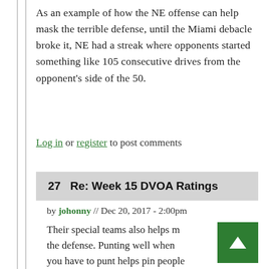As an example of how the NE offense can help mask the terrible defense, until the Miami debacle broke it, NE had a streak where opponents started something like 105 consecutive drives from the opponent's side of the 50.
Log in or register to post comments
27   Re: Week 15 DVOA Ratings
by johonny // Dec 20, 2017 - 2:00pm
Their special teams also helps m the defense. Punting well when you have to punt helps pin people back. Kicking off well etc... Good special teams matter, just ask the